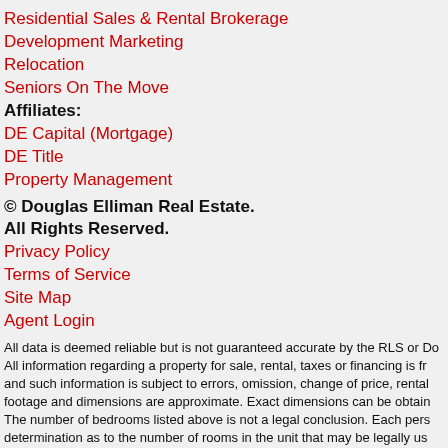Residential Sales & Rental Brokerage
Development Marketing
Relocation
Seniors On The Move
Affiliates:
DE Capital (Mortgage)
DE Title
Property Management
© Douglas Elliman Real Estate. All Rights Reserved.
Privacy Policy
Terms of Service
Site Map
Agent Login
All data is deemed reliable but is not guaranteed accurate by the RLS or Do All information regarding a property for sale, rental, taxes or financing is fr and such information is subject to errors, omission, change of price, rental footage and dimensions are approximate. Exact dimensions can be obtain The number of bedrooms listed above is not a legal conclusion. Each pers determination as to the number of rooms in the unit that may be legally us
© 2014. Douglas Elliman Real Estate. All material presented herein i believed to be correct, it is represented subject to errors, omission including, but not limited to square footage, room count, number reliable, but should be verified by your own attorney, architect or